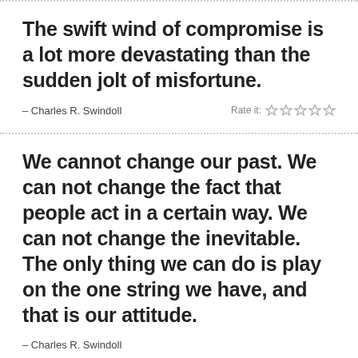The swift wind of compromise is a lot more devastating than the sudden jolt of misfortune.
– Charles R. Swindoll
We cannot change our past. We can not change the fact that people act in a certain way. We can not change the inevitable. The only thing we can do is play on the one string we have, and that is our attitude.
– Charles R. Swindoll